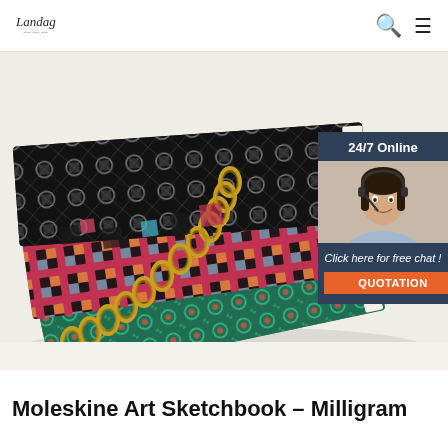Landag (logo) | Search icon | Menu icon
[Figure (photo): Stack of colorful spiral-bound Moleskine art sketchbooks with decorative covers and gold spiral binding, fanned out on a white surface. An overlay chat widget in the top-right corner shows '24/7 Online', a customer service woman with a headset, 'Click here for free chat!' and an orange 'QUOTATION' button.]
Moleskine Art Sketchbook – Milligram